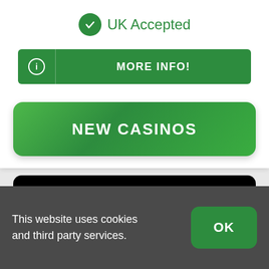UK Accepted
MORE INFO!
NEW CASINOS
[Figure (logo): MR VEGAS logo in dark green outline font on black rounded rectangle background]
This website uses cookies and third party services.
OK